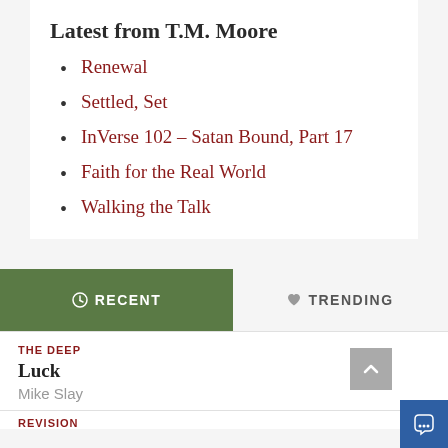Latest from T.M. Moore
Renewal
Settled, Set
InVerse 102 – Satan Bound, Part 17
Faith for the Real World
Walking the Talk
RECENT | TRENDING
THE DEEP
Luck
Mike Slay
REVISION